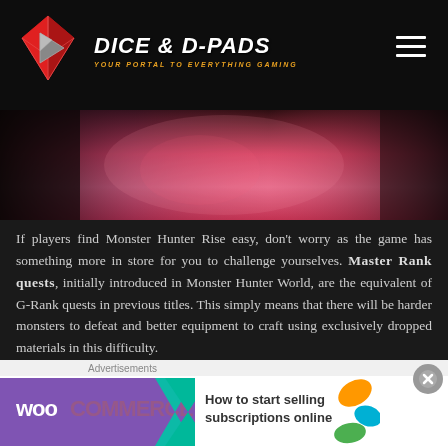DICE & D-PADS — YOUR PORTAL TO EVERYTHING GAMING
[Figure (photo): Pink/red toned hero image of a Monster Hunter character or monster, dark and atmospheric]
If players find Monster Hunter Rise easy, don't worry as the game has something more in store for you to challenge yourselves. Master Rank quests, initially introduced in Monster Hunter World, are the equivalent of G-Rank quests in previous titles. This simply means that there will be harder monsters to defeat and better equipment to craft using exclusively dropped materials in this difficulty.
Also, if you're used to the attack patterns of the monsters, l
[Figure (screenshot): WooCommerce advertisement banner — How to start selling subscriptions online]